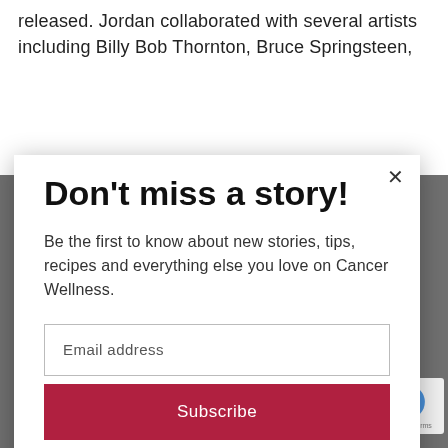released. Jordan collaborated with several artists including Billy Bob Thornton, Bruce Springsteen,
Don't miss a story!
Be the first to know about new stories, tips, recipes and everything else you love on Cancer Wellness.
Email address
Subscribe
OK
PRIVACY POLICY